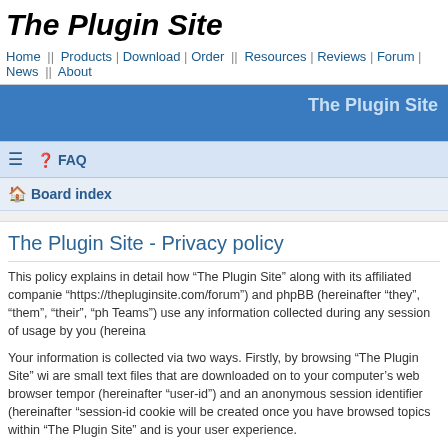The Plugin Site
Home || Products | Download | Order || Resources | Reviews | Forum | News || About
The Plugin Site
≡  ? FAQ
⌂ Board index
The Plugin Site - Privacy policy
This policy explains in detail how “The Plugin Site” along with its affiliated companie “https://thepluginsite.com/forum”) and phpBB (hereinafter “they”, “them”, “their”, “ph Teams”) use any information collected during any session of usage by you (hereina
Your information is collected via two ways. Firstly, by browsing “The Plugin Site” wi are small text files that are downloaded on to your computer’s web browser tempor (hereinafter “user-id”) and an anonymous session identifier (hereinafter “session-id cookie will be created once you have browsed topics within “The Plugin Site” and is your user experience.
We may also create cookies external to the phpBB software whilst browsing “The P which is intended to only cover the pages created by the phpBB software. The sec